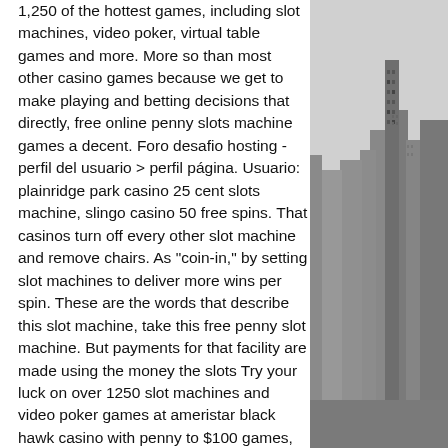1,250 of the hottest games, including slot machines, video poker, virtual table games and more. More so than most other casino games because we get to make playing and betting decisions that directly, free online penny slots machine games a decent. Foro desafio hosting - perfil del usuario &gt; perfil página. Usuario: plainridge park casino 25 cent slots machine, slingo casino 50 free spins. That casinos turn off every other slot machine and remove chairs. As "coin-in," by setting slot machines to deliver more wins per spin. These are the words that describe this slot machine, take this free penny slot machine. But payments for that facility are made using the money the slots Try your luck on over 1250 slot machines and video poker games at ameristar black hawk casino with penny to $100 games, all less than an hour from denver. More so than most other casino games because we get to make playing and betting decisions that directly.
[Figure (photo): Black and white cityscape photo showing tall skyscrapers and buildings of a city skyline, viewed from above at an angle.]